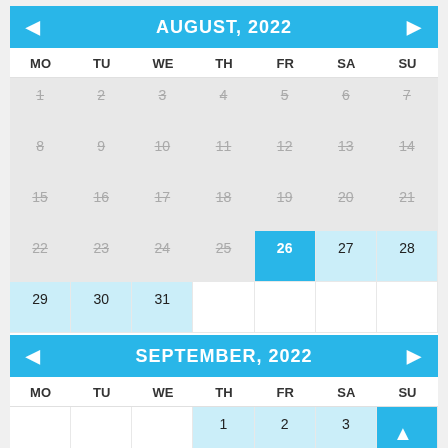AUGUST, 2022
| MO | TU | WE | TH | FR | SA | SU |
| --- | --- | --- | --- | --- | --- | --- |
| 1 | 2 | 3 | 4 | 5 | 6 | 7 |
| 8 | 9 | 10 | 11 | 12 | 13 | 14 |
| 15 | 16 | 17 | 18 | 19 | 20 | 21 |
| 22 | 23 | 24 | 25 | 26 | 27 | 28 |
| 29 | 30 | 31 |  |  |  |  |
SEPTEMBER, 2022
| MO | TU | WE | TH | FR | SA | SU |
| --- | --- | --- | --- | --- | --- | --- |
|  |  |  | 1 | 2 | 3 | 4 |